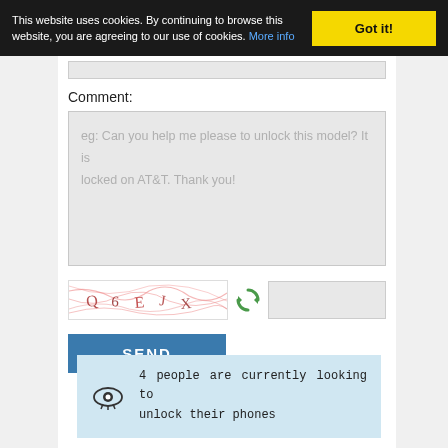This website uses cookies. By continuing to browse this website, you are agreeing to our use of cookies. More info
Got it!
Comment:
eg: Can you help me please to unlock this model? It is locked on AT&T. Thank you!
[Figure (other): CAPTCHA image with distorted text characters and red wavy lines on white background]
SEND
4 people are currently looking to unlock their phones